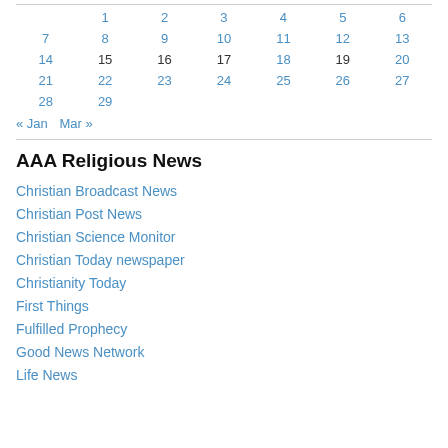|  |  |  |  |  |  |  |
| --- | --- | --- | --- | --- | --- | --- |
|  | 1 | 2 | 3 | 4 | 5 | 6 |
| 7 | 8 | 9 | 10 | 11 | 12 | 13 |
| 14 | 15 | 16 | 17 | 18 | 19 | 20 |
| 21 | 22 | 23 | 24 | 25 | 26 | 27 |
| 28 | 29 |  |  |  |  |  |
« Jan   Mar »
AAA Religious News
Christian Broadcast News
Christian Post News
Christian Science Monitor
Christian Today newspaper
Christianity Today
First Things
Fulfilled Prophecy
Good News Network
Life News